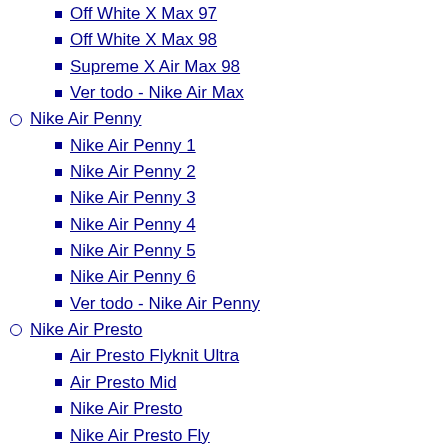Off White X Max 97
Off White X Max 98
Supreme X Air Max 98
Ver todo - Nike Air Max
Nike Air Penny
Nike Air Penny 1
Nike Air Penny 2
Nike Air Penny 3
Nike Air Penny 4
Nike Air Penny 5
Nike Air Penny 6
Ver todo - Nike Air Penny
Nike Air Presto
Air Presto Flyknit Ultra
Air Presto Mid
Nike Air Presto
Nike Air Presto Fly
Ver todo - Nike Air Presto
Nike Air Shox
Air Max Shox 2018
Nike Shox Avenue 802
Nike Shox Avenue 803
Nike Shox Avenue 808
Nike Shox Current 807
Nike Shox Deliver